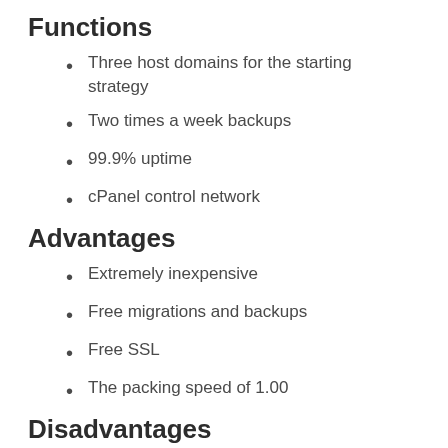Functions
Three host domains for the starting strategy
Two times a week backups
99.9% uptime
cPanel control network
Advantages
Extremely inexpensive
Free migrations and backups
Free SSL
The packing speed of 1.00
Disadvantages
Reasonably a low speed